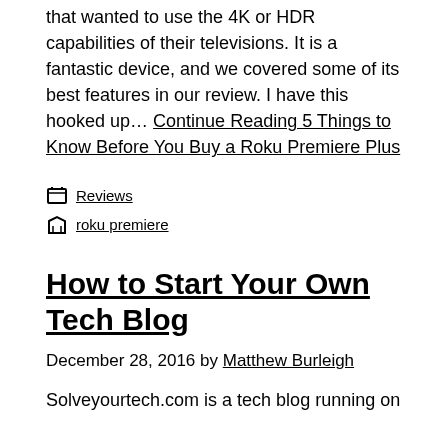that wanted to use the 4K or HDR capabilities of their televisions. It is a fantastic device, and we covered some of its best features in our review. I have this hooked up… Continue Reading 5 Things to Know Before You Buy a Roku Premiere Plus
Reviews
roku premiere
How to Start Your Own Tech Blog
December 28, 2016 by Matthew Burleigh
Solveyourtech.com is a tech blog running on